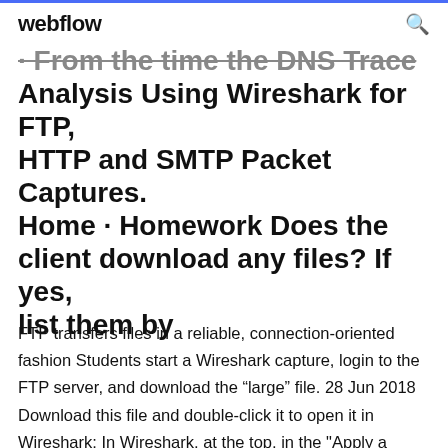webflow
· From the time the DNS Trace Analysis Using Wireshark for FTP, HTTP and SMTP Packet Captures. Home · Homework Does the client download any files? If yes, list them by
FTP transfers files in a reliable, connection-oriented fashion Students start a Wireshark capture, login to the FTP server, and download the "large" file. 28 Jun 2018 Download this file and double-click it to open it in Wireshark: In Wireshark, at the top, in the "Apply a display filter" box, type ftp and press the  21 Jan 2014 As you know, Wireshark is the most popular